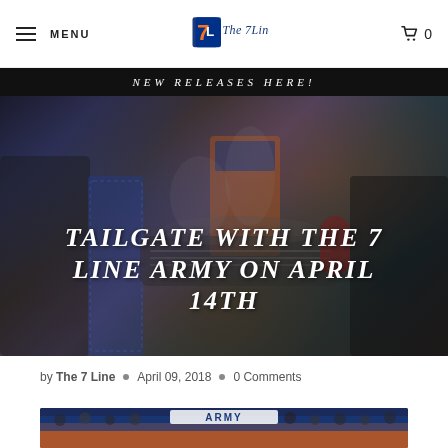MENU | The 7 Line | 0
NEW RELEASES HERE!
[Figure (photo): Hero background photo of a tailgate event with people grilling, overlaid with large italic white text reading TAILGATE WITH THE 7 LINE ARMY ON APRIL 14TH]
TAILGATE WITH THE 7 LINE ARMY ON APRIL 14TH
by The 7 Line  •  April 09, 2018  •  0 Comments
[Figure (photo): Group photo of fans in Mets orange and blue jerseys with a banner reading ARMY]